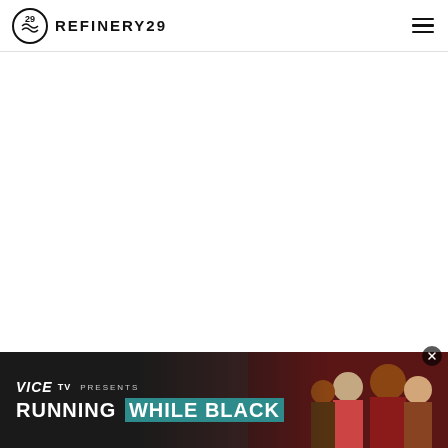REFINERY29
[Figure (screenshot): Refinery29 website header with logo (circle with '29' inside) and 'REFINERY29' wordmark on left, hamburger menu icon on right. Large white content area below the header. Bottom portion shows a VICE TV advertisement banner for 'RUNNING WHILE BLACK' with people in background, and a close (X) button.]